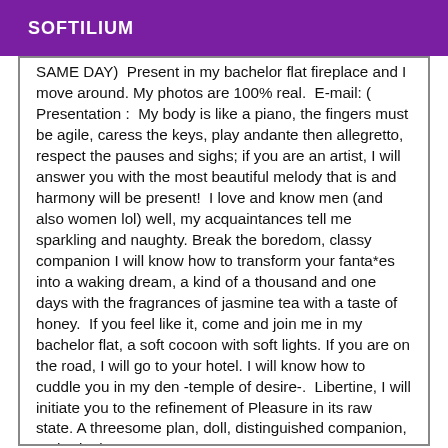SOFTILIUM
SAME DAY)  Present in my bachelor flat fireplace and I move around. My photos are 100% real.  E-mail: ( Presentation :  My body is like a piano, the fingers must be agile, caress the keys, play andante then allegretto, respect the pauses and sighs; if you are an artist, I will answer you with the most beautiful melody that is and harmony will be present!  I love and know men (and also women lol) well, my acquaintances tell me sparkling and naughty. Break the boredom, classy companion I will know how to transform your fanta*es into a waking dream, a kind of a thousand and one days with the fragrances of jasmine tea with a taste of honey.  If you feel like it, come and join me in my bachelor flat, a soft cocoon with soft lights. If you are on the road, I will go to your hotel. I will know how to cuddle you in my den -temple of desire-.  Libertine, I will initiate you to the refinement of Pleasure in its raw state. A threesome plan, doll, distinguished companion, authoritative